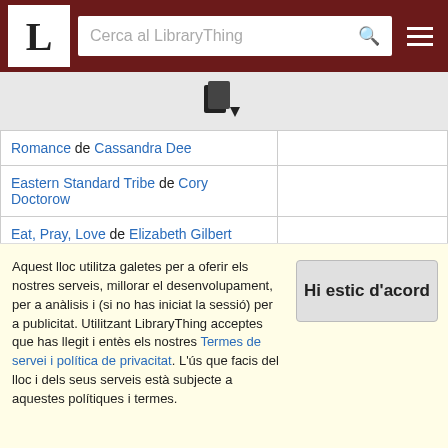L — Cerca al LibraryThing
[Figure (other): LibraryThing book/export icon in dark color]
|  |  |
| --- | --- |
| Romance de Cassandra Dee |  |
| Eastern Standard Tribe de Cory Doctorow |  |
| Eat, Pray, Love de Elizabeth Gilbert |  |
| The Empire of a Thousand Planets de Jean-Claude Mézières |  |
| Eyelid Lick (Fence Modern Poets Series) de Donald Dunbar |  |
Aquest lloc utilitza galetes per a oferir els nostres serveis, millorar el desenvolupament, per a anàlisis i (si no has iniciat la sessió) per a publicitat. Utilitzant LibraryThing acceptes que has llegit i entès els nostres Termes de servei i política de privacitat. L'ús que facis del lloc i dels seus serveis està subjecte a aquestes polítiques i termes.